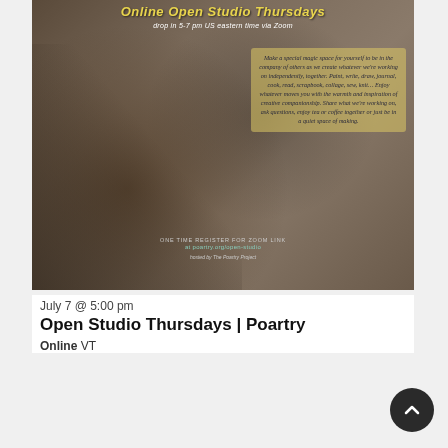[Figure (photo): Event promotional poster for 'Online Open Studio Thursdays' showing people crafting around a table with plants and art supplies. Yellow text overlay describes the creative gathering. Bottom has registration info at poartry.org/open-studio, hosted by The Poartry Project.]
July 7 @ 5:00 pm
Open Studio Thursdays | Poartry
Online VT